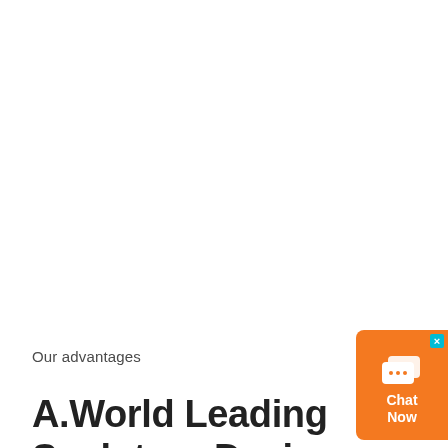Our advantages
A.World Leading Sculpture Designer and Manufacturer
[Figure (other): Orange chat widget with speech bubble icons and 'Chat Now' label, with a cyan close button in the top right corner]